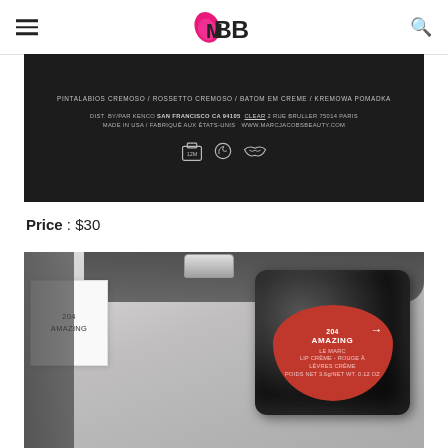IMBB
[Figure (photo): Back of Marc Jacobs Beauty lipstick packaging showing text: PINTALABIOS CREMOSO / ROSSETTO CREMOSO / BATOM EM CREME / KREMOWA POMADKA. DIST. BY/PAR KENCO SAN FRANCISCO CA 94105. CLEAR 2 RUE BRULLER 75014 PARIS. MADE IN USA / FABRIQUE AUX ÉTATS-UNIS. WWW.MARCJACOBSBEAUTY.COM. With 12M and cosmetics symbols.]
Price : $30
[Figure (photo): Close-up photo showing Marc Jacobs lipstick product #204 Amazing - Le Marc Lip Crème - Rouge À Lèvres Crème. Shows both the box label and the bottom of the lipstick tube with red label showing: 204 AMAZING, LE MARC, LIP CRÈME - ROUGE À LÈVRES CRÈME, POIDS NET 3.6g/NET WT. 0.12 OZ.]